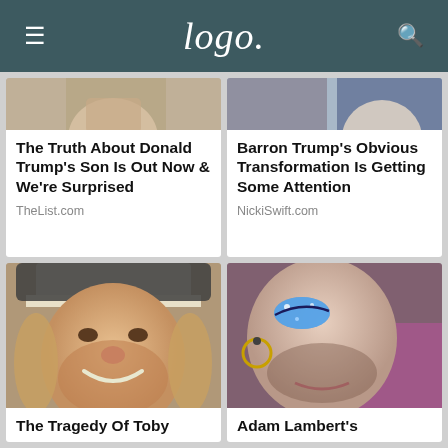Logo
The Truth About Donald Trump's Son Is Out Now & We're Surprised
TheList.com
Barron Trump's Obvious Transformation Is Getting Some Attention
NickiSwift.com
[Figure (photo): Man in hat smiling, bearded, outdoors]
The Tragedy Of Toby
[Figure (photo): Man with blue eye makeup and earring]
Adam Lambert's